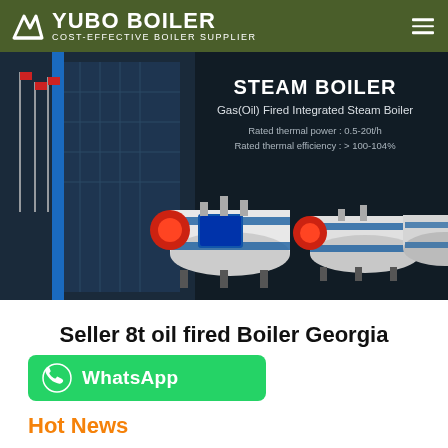YUBO BOILER — COST-EFFECTIVE BOILER SUPPLIER
[Figure (photo): Banner image showing steam boilers — Gas(Oil) Fired Integrated Steam Boiler with specs: Rated thermal power 0.5-20t/h, Rated thermal efficiency > 100-104%. Background shows industrial building with flags. Foreground shows three boiler units.]
Seller 8t oil fired Boiler Georgia
[Figure (other): WhatsApp contact button with green background and WhatsApp logo]
Hot News